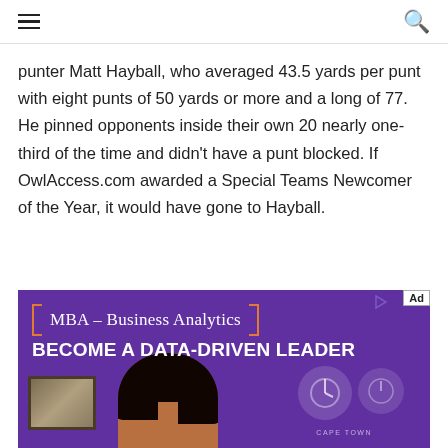Navigation menu and search icons
punter Matt Hayball, who averaged 43.5 yards per punt with eight punts of 50 yards or more and a long of 77. He pinned opponents inside their own 20 nearly one-third of the time and didn't have a punt blocked. If OwlAccess.com awarded a Special Teams Newcomer of the Year, it would have gone to Hayball.
[Figure (photo): Advertisement banner for MBA - Business Analytics program with text 'BECOME A DATA-DRIVEN LEADER' on purple background with a person's photo and decorative circles]